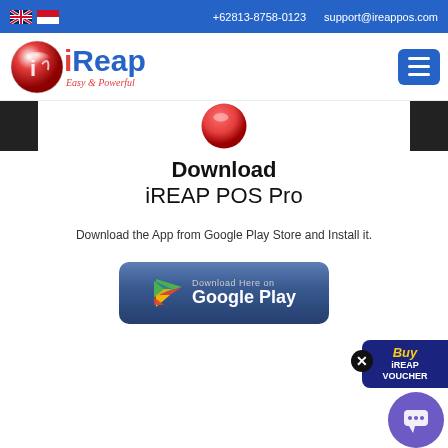+62813-8758-0123  support@ireappos.com
[Figure (logo): iReap logo with red ball icon and text 'iReap Easy & Powerful']
Download
iREAP POS Pro
Download the App from Google Play Store and Install it.
[Figure (screenshot): Google Play Store download button with play triangle icon, text 'Download Here on Google Play']
[Figure (infographic): Floating 'Buy iREAP VOUCHER' button in dark blue with yellow 'Buy' text, and a close X button, and a purple chat widget button]